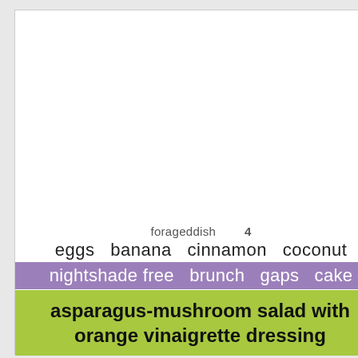forageddish   4
eggs  banana  cinnamon  coconut
nightshade free  brunch  gaps  cake
asparagus-mushroom salad with orange vinaigrette dressing